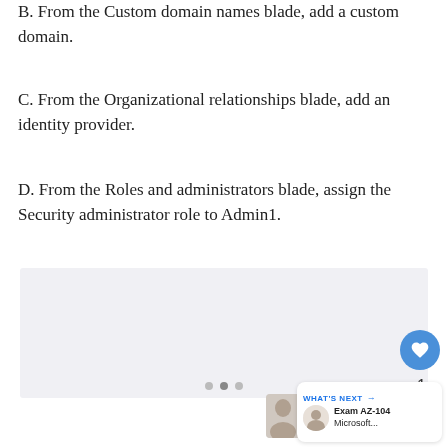B. From the Custom domain names blade, add a custom domain.
C. From the Organizational relationships blade, add an identity provider.
D. From the Roles and administrators blade, assign the Security administrator role to Admin1.